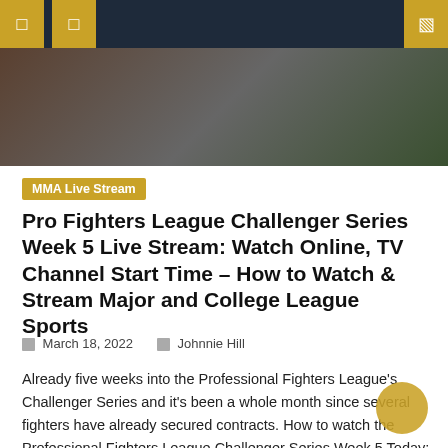Navigation header with menu icons and search
[Figure (photo): MMA fighters in action, close-up of fighters, one wearing PFL branded shorts with American flag patch]
MMA Live Stream
Pro Fighters League Challenger Series Week 5 Live Stream: Watch Online, TV Channel Start Time – How to Watch & Stream Major and College League Sports
March 18, 2022   Johnnie Hill
Already five weeks into the Professional Fighters League's Challenger Series and it's been a whole month since several fighters have already secured contracts. How to watch the Professional Fighters League Challenger Series Week 5 Today: Match date: March 18, 2022 Game time: 9:00 p.m. ET TV: fubo sports network Direct Professional Fighters League Challenger Series [...]